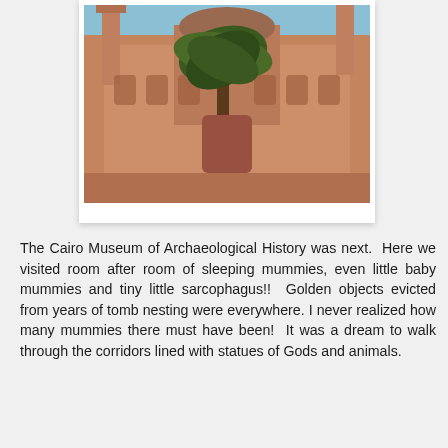[Figure (photo): Photo of a mosque or historic building with reddish-brown stone facade, two minarets visible, and a palm tree in the foreground against a blue sky (Cairo, Egypt)]
The Cairo Museum of Archaeological History was next.  Here we visited room after room of sleeping mummies, even little baby mummies and tiny little sarcophagus!!  Golden objects evicted from years of tomb nesting were everywhere. I never realized how many mummies there must have been!  It was a dream to walk through the corridors lined with statues of Gods and animals.
[Figure (photo): Photo of a person standing in front of the Cairo Museum of Egyptian Antiquities, with a large sphinx statue visible and the pink/red building facade in the background]